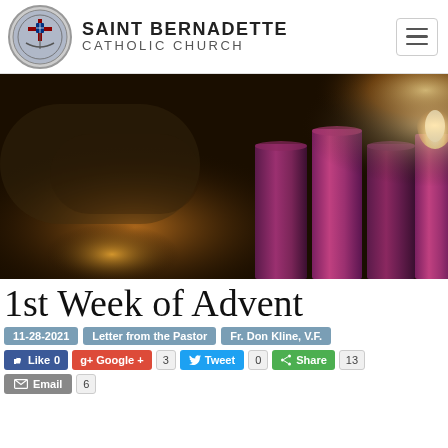SAINT BERNADETTE CATHOLIC CHURCH
[Figure (photo): Dark atmospheric photo of four purple/magenta Advent candles against a warm glowing background with stone or wood textures]
1st Week of Advent
11-28-2021   Letter from the Pastor   Fr. Don Kline, V.F.
Like 0   Google + 3   Tweet 0   Share 13   Email 6